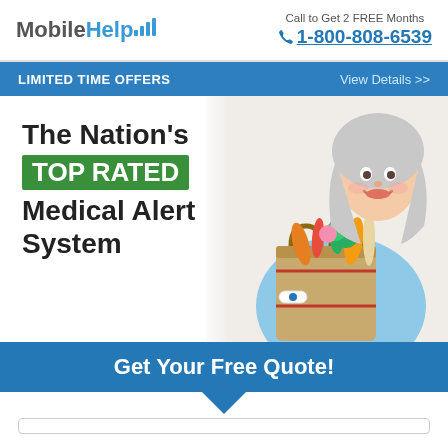[Figure (logo): MobileHelp logo with signal bars icon in teal/green, company name in grey and blue]
Call to Get 2 FREE Months
1-800-808-6539
LIMITED TIME OFFERS    View Details >>
The Nation's TOP RATED Medical Alert System
[Figure (photo): Elderly woman with silver hair smiling, wearing light blue top and white medical alert wristband, holding a grocery bag full of vegetables and bread]
Get Your Free Quote!